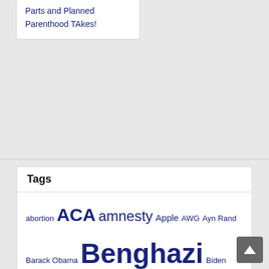Parts and Planned Parenthood TAkes!
Tags
abortion ACA amnesty Apple AWG Ayn Rand Barack Obama Benghazi Biden Black Lives Matter Bob Parks climate change Clinton COVID Cruz energy EPA Friedman global warming Gun control Hillary immigration IRS ISIS Islamic Jihad jobs John F. Di Leo NSA Obama Obamacare Pelosi Pence Planned Parenthood politics Putin Rich TAkes! RINO Ronald Reagan Rubio Russians TEA Party Ted Cruz Trump Vote Fraud welfare